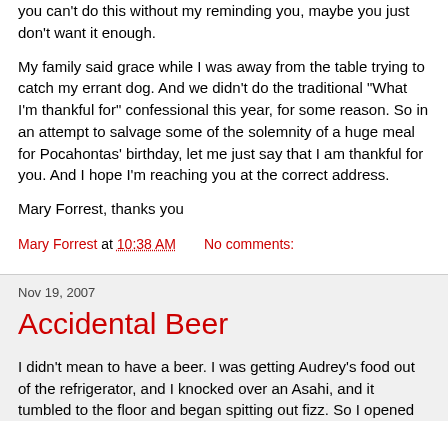you can't do this without my reminding you, maybe you just don't want it enough.
My family said grace while I was away from the table trying to catch my errant dog. And we didn't do the traditional "What I'm thankful for" confessional this year, for some reason. So in an attempt to salvage some of the solemnity of a huge meal for Pocahontas' birthday, let me just say that I am thankful for you. And I hope I'm reaching you at the correct address.
Mary Forrest, thanks you
Mary Forrest at 10:38 AM   No comments:
Nov 19, 2007
Accidental Beer
I didn't mean to have a beer. I was getting Audrey's food out of the refrigerator, and I knocked over an Asahi, and it tumbled to the floor and began spitting out fizz. So I opened